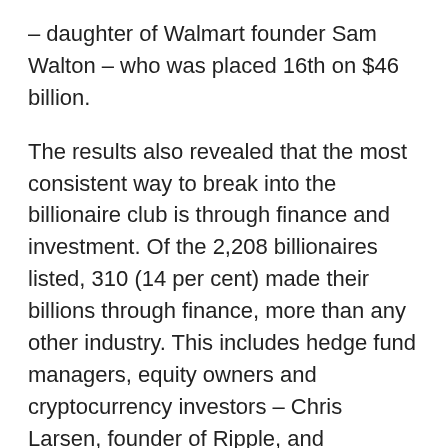– daughter of Walmart founder Sam Walton – who was placed 16th on $46 billion.
The results also revealed that the most consistent way to break into the billionaire club is through finance and investment. Of the 2,208 billionaires listed, 310 (14 per cent) made their billions through finance, more than any other industry. This includes hedge fund managers, equity owners and cryptocurrency investors – Chris Larsen, founder of Ripple, and Changpeng Zhao, of Binance, became the first crypto-billionaires.
The list is calculated through wealth surveys which are then scrutinised by assessing business dealings, valuable assets and stock. This is then verified through interviews to vet the